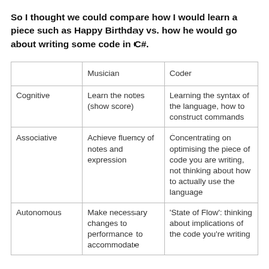So I thought we could compare how I would learn a piece such as Happy Birthday vs. how he would go about writing some code in C#.
|  | Musician | Coder |
| --- | --- | --- |
| Cognitive | Learn the notes (show score) | Learning the syntax of the language, how to construct commands |
| Associative | Achieve fluency of notes and expression | Concentrating on optimising the piece of code you are writing, not thinking about how to actually use the language |
| Autonomous | Make necessary changes to performance to accommodate | 'State of Flow': thinking about implications of the code you're writing |